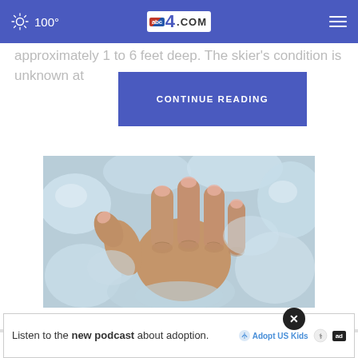100° abc4.com
approximately 1 to 6 feet deep. The skier's condition is unknown at
CONTINUE READING
[Figure (photo): A human hand resting on ice cubes, showing swollen/arthritic fingers surrounded by ice]
Red Flag Signs of Psoriatic Arthritis Most People May Not Be Aware of
Listen to the new podcast about adoption.